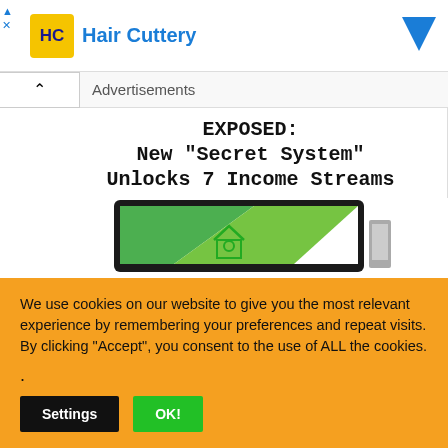[Figure (screenshot): Hair Cuttery advertisement banner with yellow HC logo, blue Hair Cuttery text, and blue arrow icon on the right]
Advertisements
[Figure (screenshot): Ad image: EXPOSED: New "Secret System" Unlocks 7 Income Streams with monitor showing green house/money graphic]
We use cookies on our website to give you the most relevant experience by remembering your preferences and repeat visits. By clicking “Accept”, you consent to the use of ALL the cookies.
.
Settings
OK!